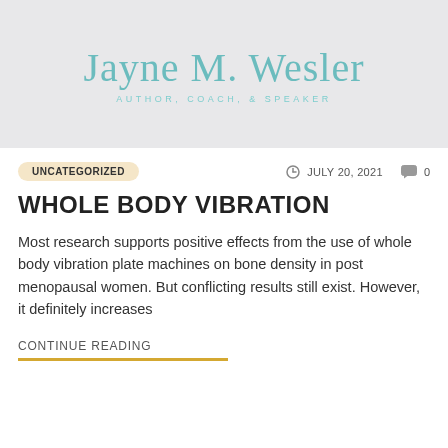[Figure (logo): Jayne M. Wesler - Author, Coach, & Speaker logo on light gray background with teal cursive script name and spaced-letter subtitle]
UNCATEGORIZED   JULY 20, 2021   0
WHOLE BODY VIBRATION
Most research supports positive effects from the use of whole body vibration plate machines on bone density in post menopausal women. But conflicting results still exist. However, it definitely increases
CONTINUE READING